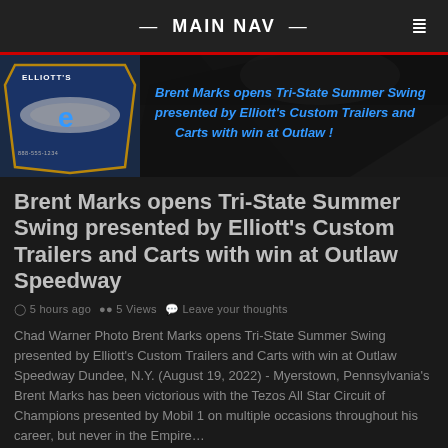— MAIN NAV —
[Figure (photo): Banner image with Elliott's Custom Trailers and Carts logo on the left and text overlay reading 'Brent Marks opens Tri-State Summer Swing presented by Elliott's Custom Trailers and Carts with win at Outlaw!' on a racing photo background]
Brent Marks opens Tri-State Summer Swing presented by Elliott's Custom Trailers and Carts with win at Outlaw Speedway
5 hours ago   5 Views   Leave your thoughts
Chad Warner Photo Brent Marks opens Tri-State Summer Swing presented by Elliott's Custom Trailers and Carts with win at Outlaw Speedway Dundee, N.Y. (August 19, 2022) - Myerstown, Pennsylvania's Brent Marks has been victorious with the Tezos All Star Circuit of Champions presented by Mobil 1 on multiple occasions throughout his career, but never in the Empire